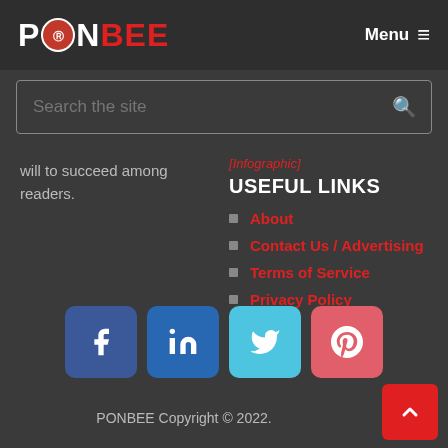PONBEE — Menu
[Figure (logo): PONBEE logo with circular badge and red BEE text]
Search the site
will to succeed among readers.
[Infographic]
USEFUL LINKS
About
Contact Us / Advertising
Terms of Service
Privacy Policy
[Figure (infographic): Social media icons: Facebook, LinkedIn, Twitter, Pinterest]
PONBEE Copyright © 2022.